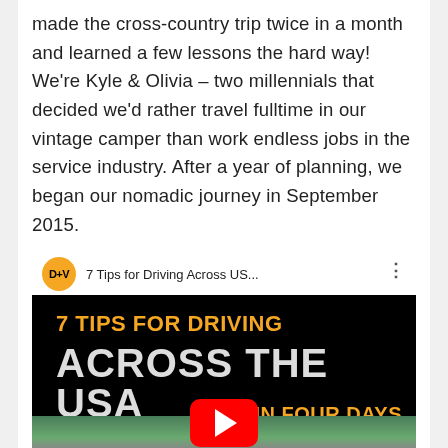made the cross-country trip twice in a month and learned a few lessons the hard way! We're Kyle & Olivia – two millennials that decided we'd rather travel fulltime in our vintage camper than work endless jobs in the service industry. After a year of planning, we began our nomadic journey in September 2015.
[Figure (screenshot): YouTube video thumbnail for '7 Tips for Driving Across US...' by D+V channel. Black background with orange text '7 TIPS FOR DRIVING', large white/grey bold text 'ACROSS THE USA', orange text 'IN FOUR DAYS', and a red YouTube play button. Bottom shows a landscape/road image.]